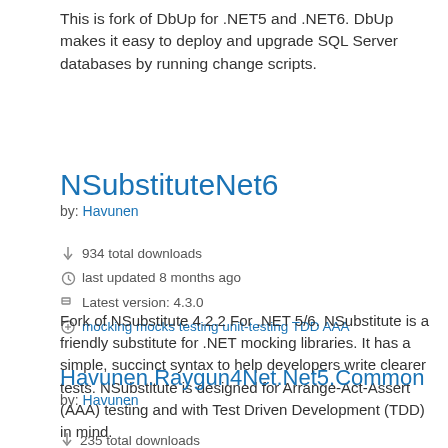This is fork of DbUp for .NET5 and .NET6. DbUp makes it easy to deploy and upgrade SQL Server databases by running change scripts.
NSubstituteNet6
by: Havunen
934 total downloads
last updated 8 months ago
Latest version: 4.3.0
mocking mocks testing unit-testing TDD AAA
Fork of NSubstitute 4.2.2 For .NET 5/6. NSubstitute is a friendly substitute for .NET mocking libraries. It has a simple, succinct syntax to help developers write clearer tests. NSubstitute is designed for Arrange-Act-Assert (AAA) testing and with Test Driven Development (TDD) in mind.
Havunen.Raygun4Net.Net5.Common
by: Havunen
235 total downloads